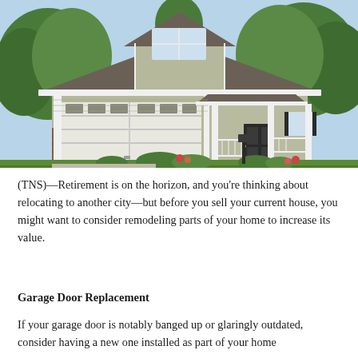[Figure (photo): Photograph of a two-story craftsman-style house with sage green siding, white trim, a two-car garage door, front porch with white railing, brick accents, and lush green trees and landscaping in the background.]
(TNS)—Retirement is on the horizon, and you're thinking about relocating to another city—but before you sell your current house, you might want to consider remodeling parts of your home to increase its value.
Garage Door Replacement
If your garage door is notably banged up or glaringly outdated, consider having a new one installed as part of your home